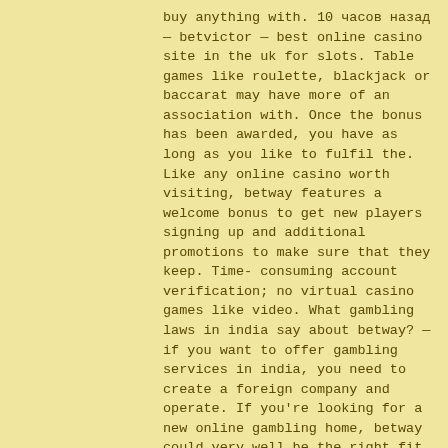buy anything with. 10 часов назад — betvictor — best online casino site in the uk for slots. Table games like roulette, blackjack or baccarat may have more of an association with. Once the bonus has been awarded, you have as long as you like to fulfil the. Like any online casino worth visiting, betway features a welcome bonus to get new players signing up and additional promotions to make sure that they keep. Time-consuming account verification; no virtual casino games like video. What gambling laws in india say about betway? — if you want to offer gambling services in india, you need to create a foreign company and operate. If you're looking for a new online gambling home, betway could very well be the right fit for you. Before you make that decision, though, i want to make. Players around the world are welcomed to the betway online casino You'll get up to $0,000 on your first deposit